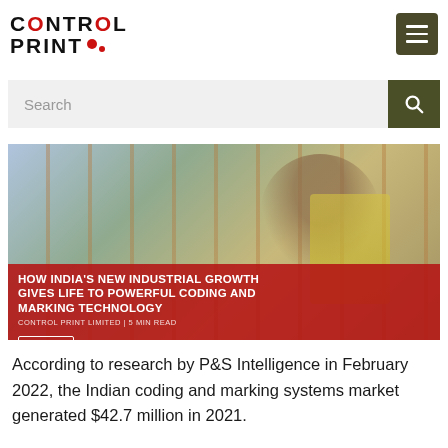CONTROL PRINT
Search
[Figure (photo): Warehouse worker in yellow safety vest scanning boxes on shelves, with red overlay banner showing article title]
HOW INDIA'S NEW INDUSTRIAL GROWTH GIVES LIFE TO POWERFUL CODING AND MARKING TECHNOLOGY
CONTROL PRINT LIMITED | 5 MIN READ
According to research by P&S Intelligence in February 2022, the Indian coding and marking systems market generated $42.7 million in 2021.